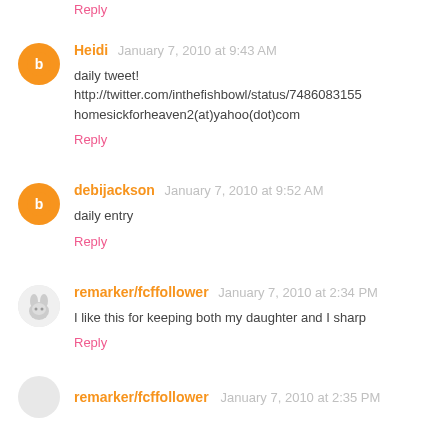Reply (partial, top)
Heidi  January 7, 2010 at 9:43 AM
daily tweet!
http://twitter.com/inthefishbowl/status/7486083155
homesickforheaven2(at)yahoo(dot)com
Reply
debijackson  January 7, 2010 at 9:52 AM
daily entry
Reply
remarker/fcffollower  January 7, 2010 at 2:34 PM
I like this for keeping both my daughter and I sharp
Reply
remarker/fcffollower  January 7, 2010 at 2:35 PM (partial)